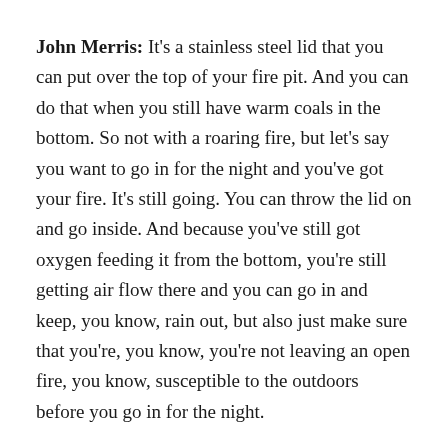John Merris: It's a stainless steel lid that you can put over the top of your fire pit. And you can do that when you still have warm coals in the bottom. So not with a roaring fire, but let's say you want to go in for the night and you've got your fire. It's still going. You can throw the lid on and go inside. And because you've still got oxygen feeding it from the bottom, you're still getting air flow there and you can go in and keep, you know, rain out, but also just make sure that you're, you know, you're not leaving an open fire, you know, susceptible to the outdoors before you go in for the night.
John Merris: And what's also cool about it. Is it doubled like a little side table or a little coffee table in